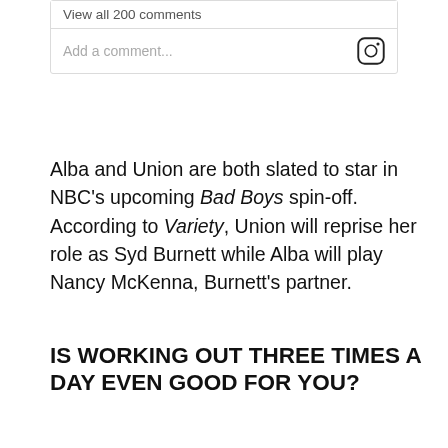View all 200 comments
Add a comment...
Alba and Union are both slated to star in NBC’s upcoming Bad Boys spin-off. According to Variety, Union will reprise her role as Syd Burnett while Alba will play Nancy McKenna, Burnett’s partner.
IS WORKING OUT THREE TIMES A DAY EVEN GOOD FOR YOU?
Alba’s intense workout routine may not be something you want to emulate.
According to a study published in the Mayo